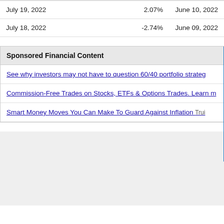| Date | Change | Date2 |
| --- | --- | --- |
| July 19, 2022 | 2.07% | June 10, 2022 |
| July 18, 2022 | -2.74% | June 09, 2022 |
Sponsored Financial Content
See why investors may not have to question 60/40 portfolio strate…
Commission-Free Trades on Stocks, ETFs & Options Trades. Learn m…
Smart Money Moves You Can Make To Guard Against Inflation  Trui…